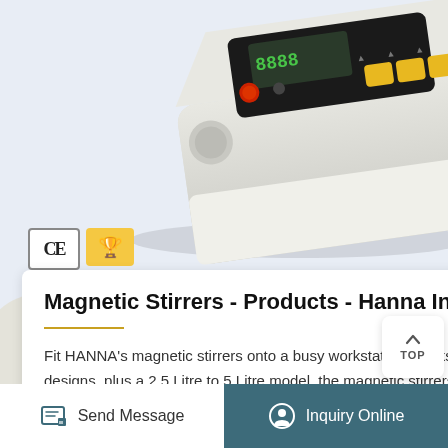[Figure (photo): Hanna Instruments magnetic stirrer device — white/grey body with black control panel, yellow buttons, and red button, viewed from above at an angle.]
Magnetic Stirrers - Products - Hanna Instruments
Fit HANNA's magnetic stirrers onto a busy workstation thanks to their compact design. Available in 1 Litre square or round designs, plus a 2.5 Litre to 5 Litre model, the magnetic stirrers are also colour-coded so…
Send Message
Inquiry Online